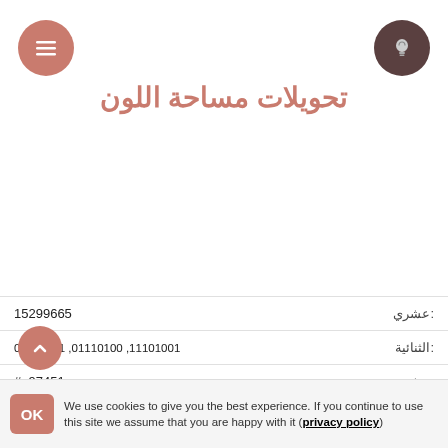تحويلات مساحة اللون
| القيمة | التسمية |
| --- | --- |
| 15299665 | عشري: |
| 01010001 ,01110100 ,11101001 | الثنائية: |
| #e97451 | عشري: |
| ≈ 30.4% | LRV: |
| # e75   ΔE = 1.409 | أقرب لون ست عشري قصير: |
| rgb(233, 116, 81) | RGB: |
| rgba(233, 116, 81, 1.0) | RGBA: |
| r: 0.542, g: 0.270, b: 0.188 | rg اللونية: |
| أحمر: %91.373, أصفر: %49.596, أزرق: | RYB: |
We use cookies to give you the best experience. If you continue to use this site we assume that you are happy with it (privacy policy)